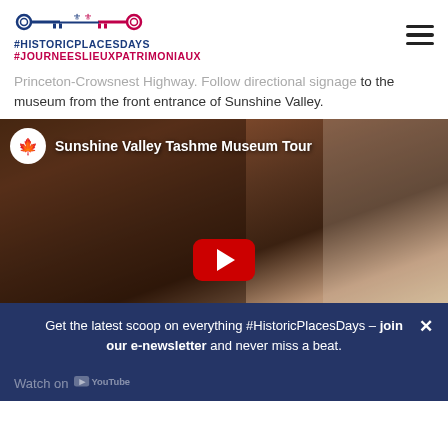#HISTORICPLACESDAYS #JOURNEESLIEUXPATRIMONIAUX
Princeton-Crowsnest Highway. Follow directional signage to the museum from the front entrance of Sunshine Valley.
[Figure (screenshot): YouTube video thumbnail for 'Sunshine Valley Tashme Museum Tour' showing a young woman inside a museum with historical clothing displays. A YouTube play button is visible in the center.]
Get the latest scoop on everything #HistoricPlacesDays – join our e-newsletter and never miss a beat.
Watch on YouTube